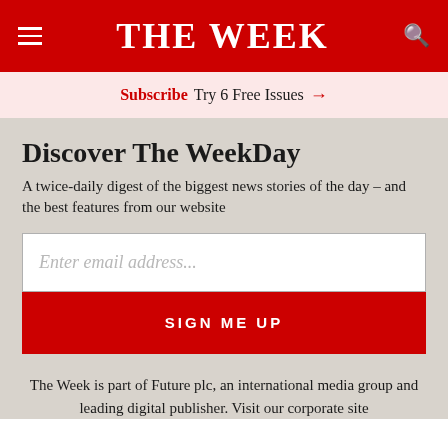THE WEEK
Subscribe Try 6 Free Issues →
Discover The WeekDay
A twice-daily digest of the biggest news stories of the day – and the best features from our website
Enter email address...
SIGN ME UP
The Week is part of Future plc, an international media group and leading digital publisher. Visit our corporate site